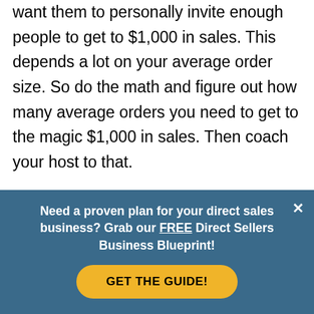want them to personally invite enough people to get to $1,000 in sales. This depends a lot on your average order size. So do the math and figure out how many average orders you need to get to the magic $1,000 in sales. Then coach your host to that.
#4 – Avoid Talking
Need a proven plan for your direct sales business? Grab our FREE Direct Sellers Business Blueprint!
GET THE GUIDE!